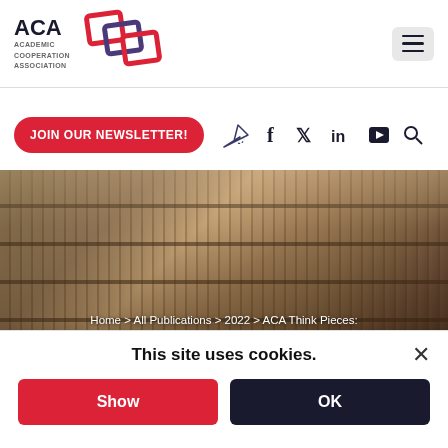[Figure (logo): ACA Academic Cooperation Association logo with interlocking red and purple diamond shapes]
JOIN OUR NEWSLETTER!
[Figure (infographic): Social media icons: paper plane, Facebook, Twitter, LinkedIn, YouTube, Search]
[Figure (photo): Library interior with curved bookshelves filled with books]
Home > All Publications > 2022 > ACA Think Pieces: Digitalisation in International Higher Education
This site uses cookies.
Show
OK